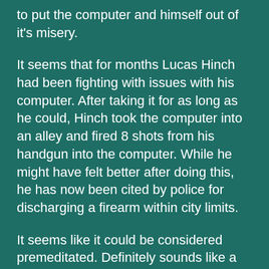to put the computer and himself out of it's misery.
It seems that for months Lucas Hinch had been fighting with issues with his computer. After taking it for as long as he could, Hinch took the computer into an alley and fired 8 shots from his handgun into the computer. While he might have felt better after doing this, he has now been cited by police for discharging a firearm within city limits.
It seems like it could be considered premeditated. Definitely sounds like a crime of passion. Brendan Spaar has gotten frustrated with computers in the past but never to that extent. Maybe Hinch thought he was dealing...